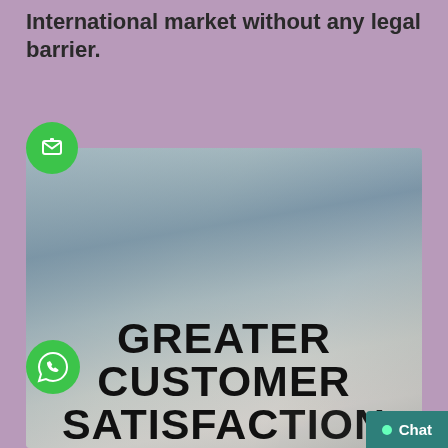International market without any legal barrier.
[Figure (illustration): Green circular flag/bookmark icon button]
[Figure (photo): Blurred background image of a person working on a laptop with overlaid bold text reading GREATER CUSTOMER SATISFACTION]
[Figure (illustration): Green WhatsApp chat icon button]
[Figure (screenshot): Teal Chat button with green dot indicator in bottom right corner]